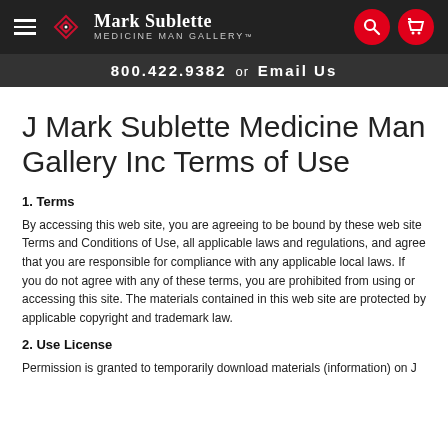Mark Sublette Medicine Man Gallery — 800.422.9382 or Email Us
J Mark Sublette Medicine Man Gallery Inc Terms of Use
1. Terms
By accessing this web site, you are agreeing to be bound by these web site Terms and Conditions of Use, all applicable laws and regulations, and agree that you are responsible for compliance with any applicable local laws. If you do not agree with any of these terms, you are prohibited from using or accessing this site. The materials contained in this web site are protected by applicable copyright and trademark law.
2. Use License
Permission is granted to temporarily download materials (information) on J